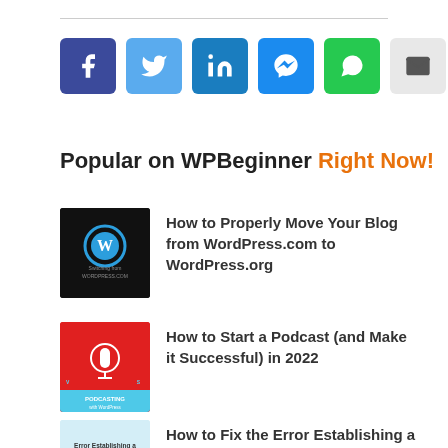[Figure (other): Row of 6 social share buttons: Facebook (dark blue), Twitter (light blue), LinkedIn (teal blue), Messenger (blue), WhatsApp (green), Email (light gray)]
Popular on WPBeginner Right Now!
How to Properly Move Your Blog from WordPress.com to WordPress.org
How to Start a Podcast (and Make it Successful) in 2022
How to Fix the Error Establishing a